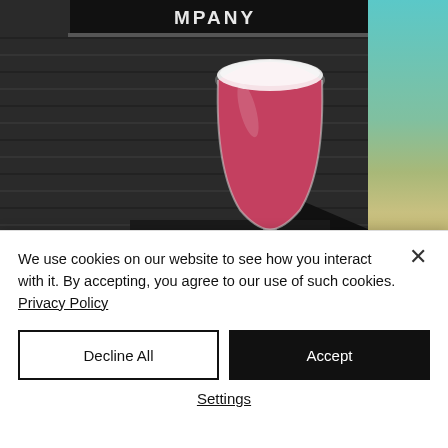[Figure (photo): Photo of a brewery exterior with dark horizontal wood siding and a sign reading 'MPANY' (partially visible). A pink/red beer in a tulip glass sits in the foreground. To the right is a partial image showing a teal sky and desert landscape.]
Apr 2, 2019 · 2 min
We use cookies on our website to see how you interact with it. By accepting, you agree to our use of such cookies. Privacy Policy
Decline All
Accept
Settings